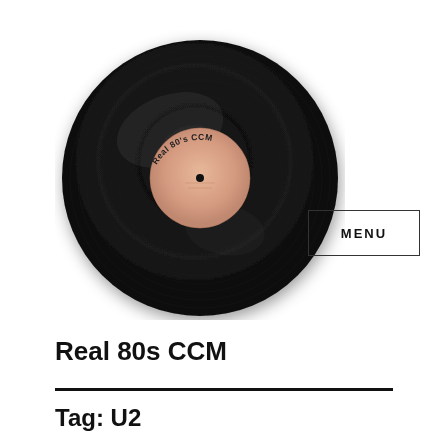[Figure (photo): A black vinyl record with a salmon/peach colored center label reading 'Real 80's CCM', photographed from above on a white background.]
Real 80s CCM
Tag: U2